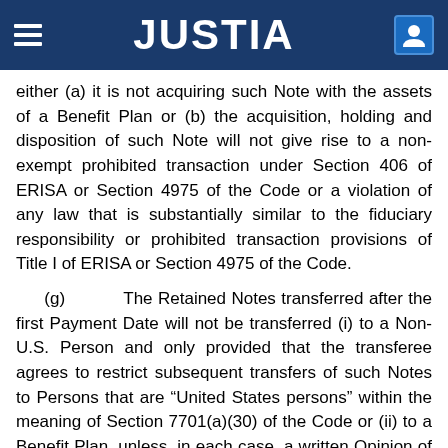JUSTIA
either (a) it is not acquiring such Note with the assets of a Benefit Plan or (b) the acquisition, holding and disposition of such Note will not give rise to a non-exempt prohibited transaction under Section 406 of ERISA or Section 4975 of the Code or a violation of any law that is substantially similar to the fiduciary responsibility or prohibited transaction provisions of Title I of ERISA or Section 4975 of the Code.
(g)       The Retained Notes transferred after the first Payment Date will not be transferred (i) to a Non-U.S. Person and only provided that the transferee agrees to restrict subsequent transfers of such Notes to Persons that are “United States persons” within the meaning of Section 7701(a)(30) of the Code or (ii) to a Benefit Plan, unless, in each case, a written Opinion of Counsel, which counsel and opinion shall be reasonably